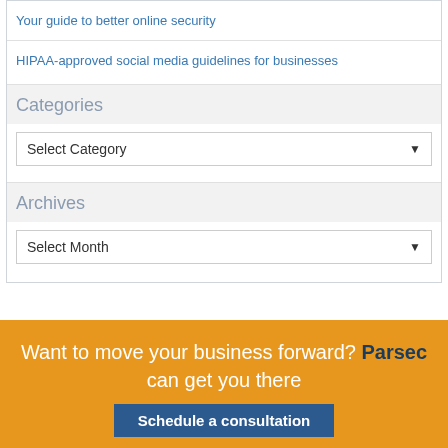Your guide to better online security
HIPAA-approved social media guidelines for businesses
Categories
Select Category
Archives
Select Month
Want to move your business forward? Parsec can get you there